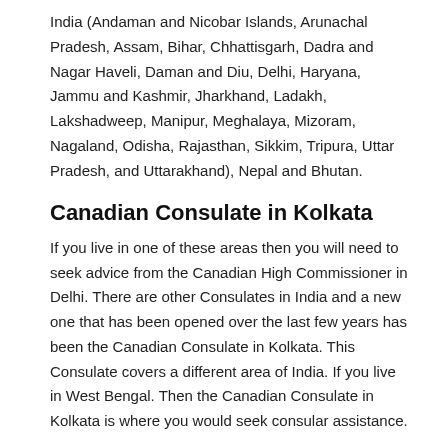India (Andaman and Nicobar Islands, Arunachal Pradesh, Assam, Bihar, Chhattisgarh, Dadra and Nagar Haveli, Daman and Diu, Delhi, Haryana, Jammu and Kashmir, Jharkhand, Ladakh, Lakshadweep, Manipur, Meghalaya, Mizoram, Nagaland, Odisha, Rajasthan, Sikkim, Tripura, Uttar Pradesh, and Uttarakhand), Nepal and Bhutan.
Canadian Consulate in Kolkata
If you live in one of these areas then you will need to seek advice from the Canadian High Commissioner in Delhi. There are other Consulates in India and a new one that has been opened over the last few years has been the Canadian Consulate in Kolkata. This Consulate covers a different area of India. If you live in West Bengal. Then the Canadian Consulate in Kolkata is where you would seek consular assistance.
Consulate of Canada in Bengaluru
The Consulate of Canada in Bengaluru (formerly Bangalore). The Consulate covers the areas of Andhra Pradesh, Karnataka, Kerala, Pondicherry, Tamil Nadu and Telangana. So if you are in Andhra Pradesh or Kerala. Then you have to contact the Consulate of